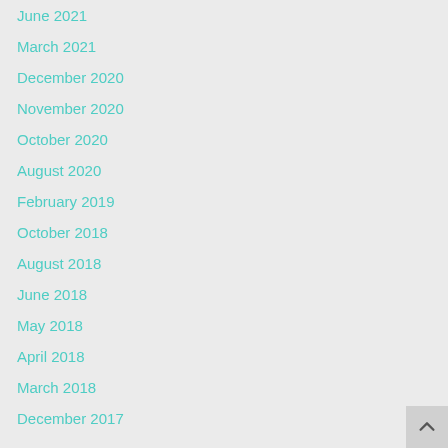June 2021
March 2021
December 2020
November 2020
October 2020
August 2020
February 2019
October 2018
August 2018
June 2018
May 2018
April 2018
March 2018
December 2017